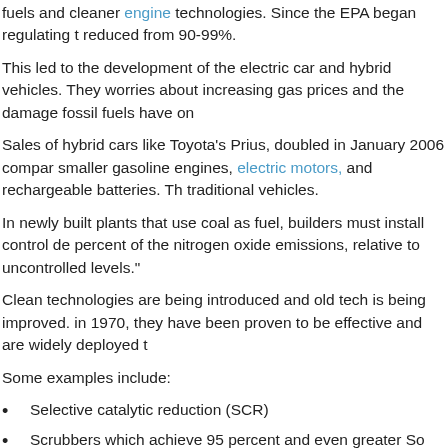fuels and cleaner engine technologies. Since the EPA began regulating t reduced from 90-99%.
This led to the development of the electric car and hybrid vehicles. They worries about increasing gas prices and the damage fossil fuels have on
Sales of hybrid cars like Toyota's Prius, doubled in January 2006 compar smaller gasoline engines, electric motors, and rechargeable batteries. Th traditional vehicles.
In newly built plants that use coal as fuel, builders must install control de percent of the nitrogen oxide emissions, relative to uncontrolled levels."
Clean technologies are being introduced and old tech is being improved. in 1970, they have been proven to be effective and are widely deployed t
Some examples include:
Selective catalytic reduction (SCR)
Scrubbers which achieve 95 percent and even greater So
Sophisticated new valves, seals and leak detection equip
Low or zero VOC paints, consumer products and cleanin